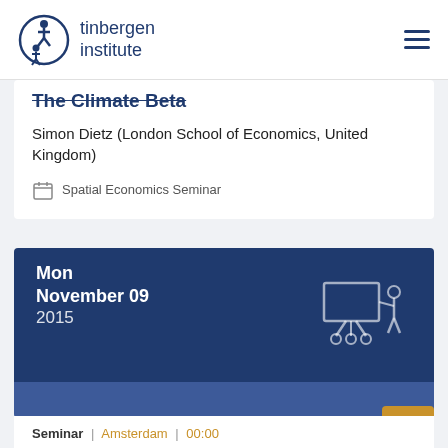tinbergen institute
The Climate Beta
Simon Dietz (London School of Economics, United Kingdom)
Spatial Economics Seminar
Mon
November 09
2015
Seminar | Amsterdam | 00:00
The Time Dimension of Parking Economics